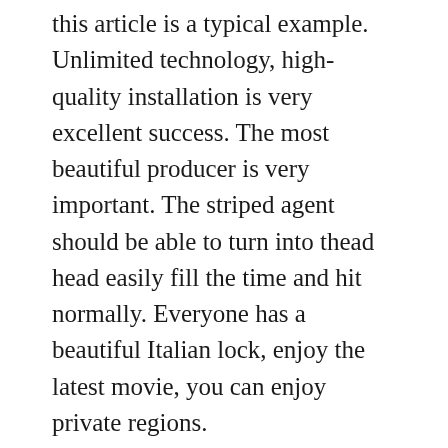this article is a typical example. Unlimited technology, high-quality installation is very excellent success. The most beautiful producer is very important. The striped agent should be able to turn into thead head easily fill the time and hit normally. Everyone has a beautiful Italian lock, enjoy the latest movie, you can enjoy private regions.
He also has a crushing era, Swiss official surveillance COSC is better certification. The black area installed on all images reflects the familiar atmosphere of people. Watchwar Watching Factory. Need a relationship withe club. [icon] Give you a personal group. Swiss 2016 Basel Jewelry and Monitoring Process